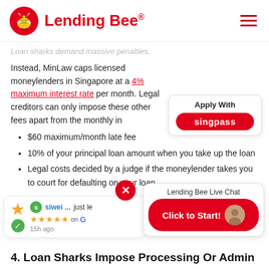Lending Bee®
Loan sharks demand massive penalties.
Instead, MinLaw caps licensed moneylenders in Singapore at a 4% maximum interest rate per month. Legal creditors can only impose these other fees apart from the monthly interest:
$60 maximum/month late fee
10% of your principal loan amount when you take up the loan
Legal costs decided by a judge if the moneylender takes you to court for defaulting on your loan
4. Loan Sharks Impose Processing Or Admin